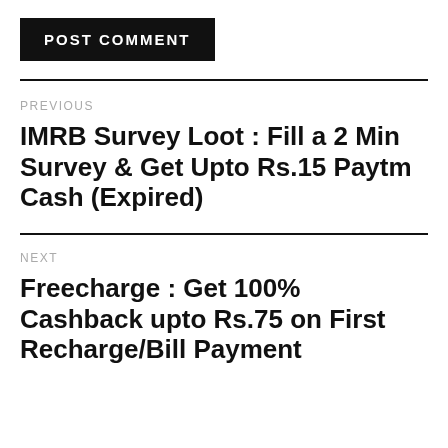[Figure (other): POST COMMENT button — black rectangle with white bold uppercase text]
PREVIOUS
IMRB Survey Loot : Fill a 2 Min Survey & Get Upto Rs.15 Paytm Cash (Expired)
NEXT
Freecharge : Get 100% Cashback upto Rs.75 on First Recharge/Bill Payment